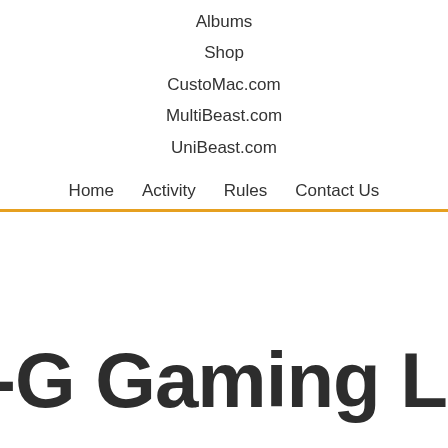Albums
Shop
CustoMac.com
MultiBeast.com
UniBeast.com
Home  Activity  Rules  Contact Us
-G Gaming LGA1...